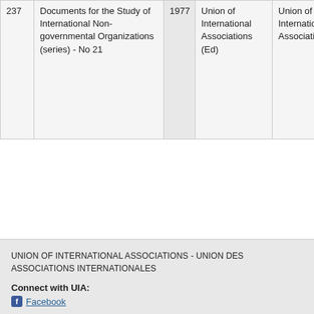| # | Title | Year | Author | Publisher | Notes |
| --- | --- | --- | --- | --- | --- |
| 237 | Documents for the Study of International Non-governmental Organizations (series) - No 21 | 1977 | Union of International Associations (Ed) | Union of International Associations | de as in da pe no m co ré ge |
« first  ‹ previous  …  10  11  12  13  14  15  16  17  18  …  next ›  last »
UNION OF INTERNATIONAL ASSOCIATIONS - UNION DES ASSOCIATIONS INTERNATIONALES
Connect with UIA:
Facebook